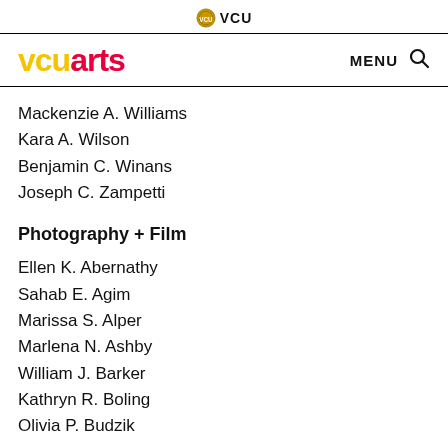VCU
[Figure (logo): VCU seal logo with text VCU]
[Figure (logo): vcuarts logo in yellow and red]
Mackenzie A. Williams
Kara A. Wilson
Benjamin C. Winans
Joseph C. Zampetti
Photography + Film
Ellen K. Abernathy
Sahab E. Agim
Marissa S. Alper
Marlena N. Ashby
William J. Barker
Kathryn R. Boling
Olivia P. Budzik